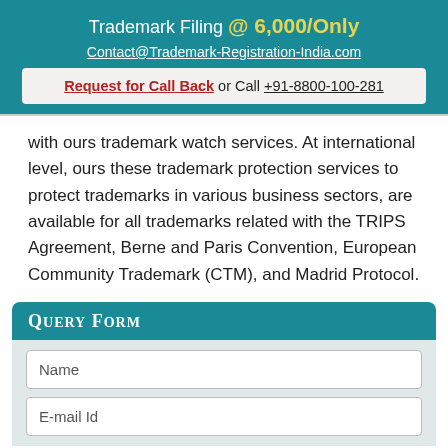Trademark Filing @ 6,000/Only
Contact@Trademark-Registration-India.com
Request for Call Back or Call +91-8800-100-281
with ours trademark watch services. At international level, ours these trademark protection services to protect trademarks in various business sectors, are available for all trademarks related with the TRIPS Agreement, Berne and Paris Convention, European Community Trademark (CTM), and Madrid Protocol.
Query Form
Name
E-mail Id